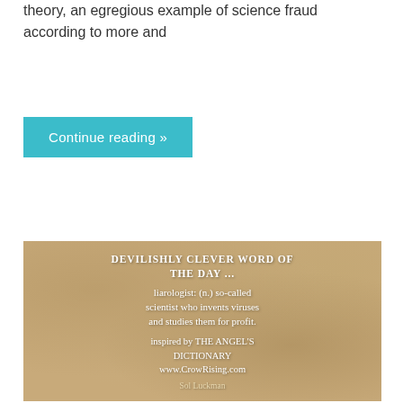theory, an egregious example of science fraud according to more and
Continue reading »
[Figure (illustration): Parchment-style image with white text reading: DEVILISHLY CLEVER WORD OF THE DAY ... / liarologist: (n.) so-called scientist who invents viruses and studies them for profit. / inspired by THE ANGEL'S DICTIONARY www.CrowRising.com / Sol Luckman]